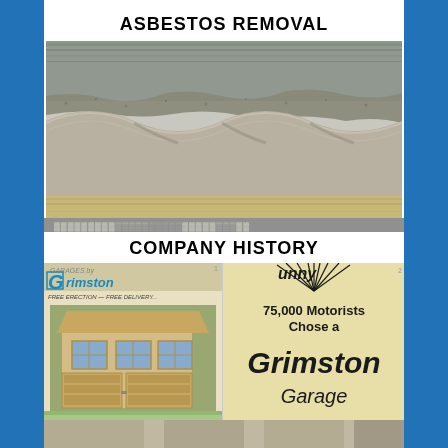[Figure (photo): Close-up photograph of corrugated asbestos roofing sheets showing the wavy profile and fibrous texture of the material]
ASBESTOS REMOVAL
[Figure (photo): Vintage advertisement collage showing Garages by Grimston logo with a timber garage image on left, and on right an advertisement reading '75,000 Motorists Chose a Grimston Garage']
COMPANY HISTORY